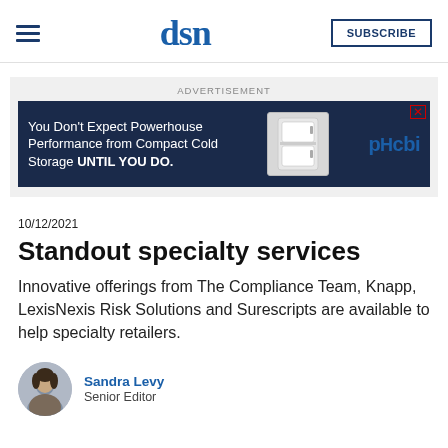dsn | SUBSCRIBE
[Figure (screenshot): Advertisement banner: PHCbi cold storage advertisement with text 'You Don't Expect Powerhouse Performance from Compact Cold Storage UNTIL YOU DO.' on dark blue background with appliance image and PHCbi logo]
10/12/2021
Standout specialty services
Innovative offerings from The Compliance Team, Knapp, LexisNexis Risk Solutions and Surescripts are available to help specialty retailers.
Sandra Levy
Senior Editor